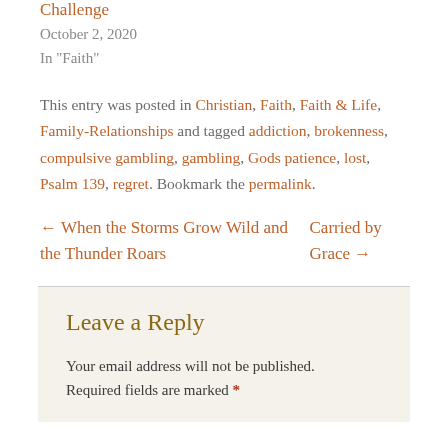Challenge
October 2, 2020
In "Faith"
This entry was posted in Christian, Faith, Faith & Life, Family-Relationships and tagged addiction, brokenness, compulsive gambling, gambling, Gods patience, lost, Psalm 139, regret. Bookmark the permalink.
← When the Storms Grow Wild and the Thunder Roars
Carried by Grace →
Leave a Reply
Your email address will not be published. Required fields are marked *